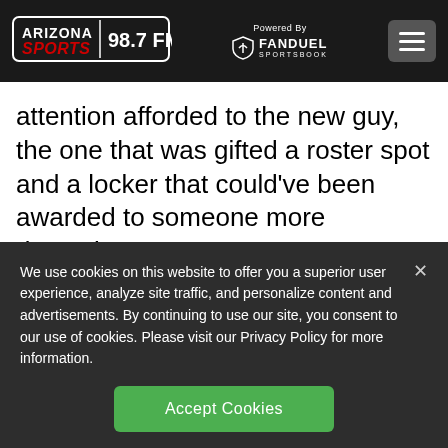ARIZONA SPORTS 98.7 FM | Powered By FANDUEL SPORTSBOOK
attention afforded to the new guy, the one that was gifted a roster spot and a locker that could've been awarded to someone more deserving.

One of them was Kirk McCaskill, a curveball
We use cookies on this website to offer you a superior user experience, analyze site traffic, and personalize content and advertisements. By continuing to use our site, you consent to our use of cookies. Please visit our Privacy Policy for more information.
Accept Cookies